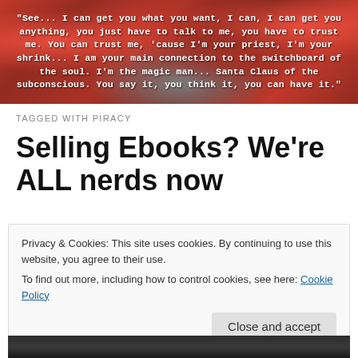[Figure (photo): Header banner image with colorful red/pink flowers and rocks background, overlaid with white typewriter-style text quote]
TAGGED WITH PIRACY
Selling Ebooks? We're ALL nerds now
Privacy & Cookies: This site uses cookies. By continuing to use this website, you agree to their use.
To find out more, including how to control cookies, see here: Cookie Policy
Close and accept